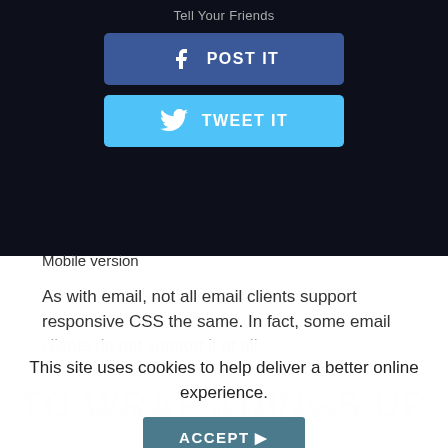[Figure (screenshot): Dark background mobile app panel showing 'Tell Your Friends' title, a Facebook 'POST IT' button in blue, and a Twitter 'TWEET IT' button in light blue]
Mobile version
As with email, not all email clients support responsive CSS the same. In fact, some email clients do not support it at all.
This site uses cookies to help deliver a better online experience.
ACCEPT ▶
TO WRAP THINGS UP
Above all: test, test, and test your email some